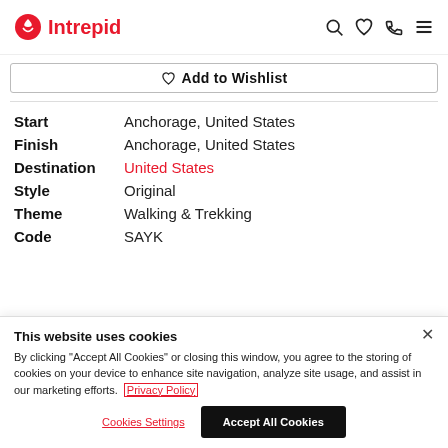Intrepid [logo] | search, wishlist, phone, menu icons
Add to Wishlist
| Field | Value |
| --- | --- |
| Start | Anchorage, United States |
| Finish | Anchorage, United States |
| Destination | United States |
| Style | Original |
| Theme | Walking & Trekking |
| Code | SAYK |
This website uses cookies

By clicking "Accept All Cookies" or closing this window, you agree to the storing of cookies on your device to enhance site navigation, analyze site usage, and assist in our marketing efforts. Privacy Policy

Cookies Settings | Accept All Cookies